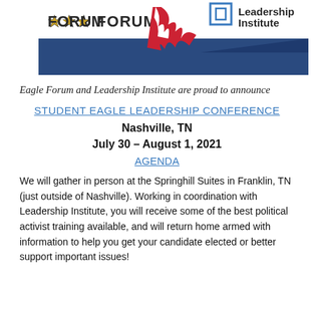[Figure (logo): Eagle Forum and Leadership Institute logos with decorative flag/wave graphic and dark blue triangular banner]
Eagle Forum and Leadership Institute are proud to announce
STUDENT EAGLE LEADERSHIP CONFERENCE
Nashville, TN
July 30 – August 1, 2021
AGENDA
We will gather in person at the Springhill Suites in Franklin, TN (just outside of Nashville). Working in coordination with Leadership Institute, you will receive some of the best political activist training available, and will return home armed with information to help you get your candidate elected or better support important issues!